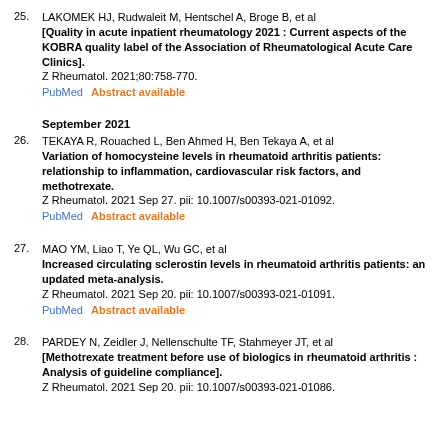25. LAKOMEK HJ, Rudwaleit M, Hentschel A, Broge B, et al [Quality in acute inpatient rheumatology 2021 : Current aspects of the KOBRA quality label of the Association of Rheumatological Acute Care Clinics]. Z Rheumatol. 2021;80:758-770. PubMed    Abstract available
September 2021
26. TEKAYA R, Rouached L, Ben Ahmed H, Ben Tekaya A, et al Variation of homocysteine levels in rheumatoid arthritis patients: relationship to inflammation, cardiovascular risk factors, and methotrexate. Z Rheumatol. 2021 Sep 27. pii: 10.1007/s00393-021-01092. PubMed    Abstract available
27. MAO YM, Liao T, Ye QL, Wu GC, et al Increased circulating sclerostin levels in rheumatoid arthritis patients: an updated meta-analysis. Z Rheumatol. 2021 Sep 20. pii: 10.1007/s00393-021-01091. PubMed    Abstract available
28. PARDEY N, Zeidler J, Nellenschulte TF, Stahmeyer JT, et al [Methotrexate treatment before use of biologics in rheumatoid arthritis : Analysis of guideline compliance]. Z Rheumatol. 2021 Sep 20. pii: 10.1007/s00393-021-01086.